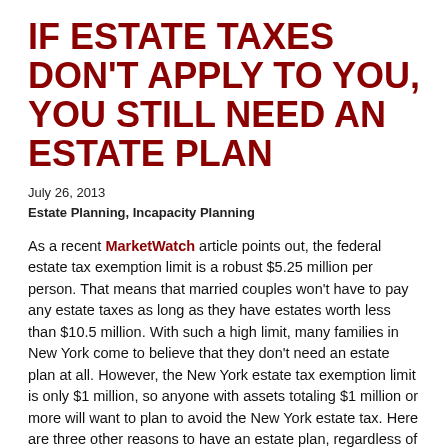IF ESTATE TAXES DON'T APPLY TO YOU, YOU STILL NEED AN ESTATE PLAN
July 26, 2013
Estate Planning, Incapacity Planning
As a recent MarketWatch article points out, the federal estate tax exemption limit is a robust $5.25 million per person. That means that married couples won't have to pay any estate taxes as long as they have estates worth less than $10.5 million. With such a high limit, many families in New York come to believe that they don't need an estate plan at all.  However, the New York estate tax exemption limit is only $1 million, so anyone with assets totaling $1 million or more will want to plan to avoid the New York estate tax.  Here are three other reasons to have an estate plan, regardless of taxes:
You can still protect your assets from long-term care costs